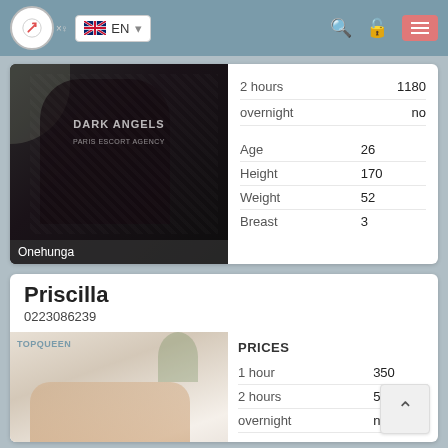EN navigation bar with logo, language selector, search, lock, and menu icons
2 hours  1180
overnight  no
| Attribute | Value |
| --- | --- |
| Age | 26 |
| Height | 170 |
| Weight | 52 |
| Breast | 3 |
[Figure (photo): Woman in black lace outfit, Dark Angels Paris Escort Agency branding. Location label: Onehunga]
Priscilla
0223086239
PRICES
| Duration | Price |
| --- | --- |
| 1 hour | 350 |
| 2 hours | 560 |
| overnight | no |
Age  28
[Figure (photo): Woman in light clothing seated, TopQueen branding]